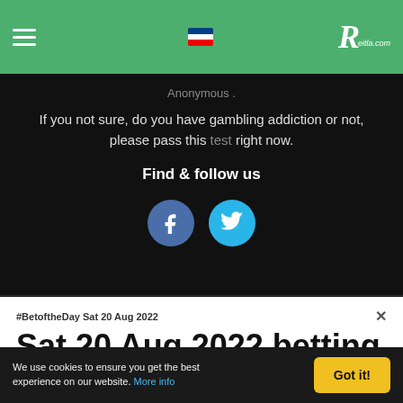Reitla.com
Anonymous .
If you not sure, do you have gambling addiction or not, please pass this test right now.
Find & follow us
[Figure (other): Social media icons: Facebook (blue circle with f) and Twitter (teal circle with bird)]
#BetoftheDay Sat 20 Aug 2022
Sat 20 Aug 2022 betting tips...
We use cookies to ensure you get the best experience on our website. More info